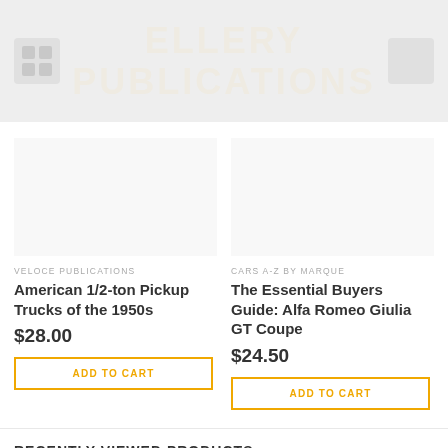ELLERY PUBLICATIONS
VELOCE PUBLICATIONS
American 1/2-ton Pickup Trucks of the 1950s
$28.00
ADD TO CART
CARS A-Z BY MARQUE
The Essential Buyers Guide: Alfa Romeo Giulia GT Coupe
$24.50
ADD TO CART
RECENTLY VIEWED PRODUCTS